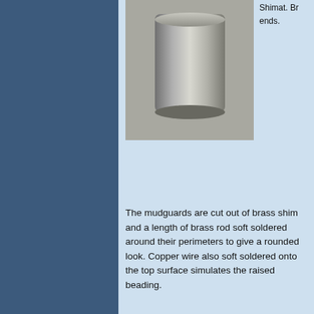[Figure (photo): Cylindrical metal object (brass shim/rod) photographed on gray background, viewed from above at slight angle]
Shimat. Br ends.
The mudguards are cut out of brass shim and a length of brass rod soft soldered around their perimeters to give a rounded look. Copper wire also soft soldered onto the top surface simulates the raised beading.
[Figure (photo): Partial view of brass mudguard component, bottom of page]